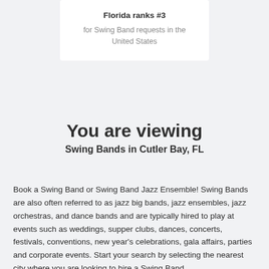Florida ranks #3
for Swing Band requests in the United States
You are viewing
Swing Bands in Cutler Bay, FL
Book a Swing Band or Swing Band Jazz Ensemble! Swing Bands are also often referred to as jazz big bands, jazz ensembles, jazz orchestras, and dance bands and are typically hired to play at events such as weddings, supper clubs, dances, concerts, festivals, conventions, new year's celebrations, gala affairs, parties and corporate events. Start your search by selecting the nearest city where you are looking to hire a Swing Band.